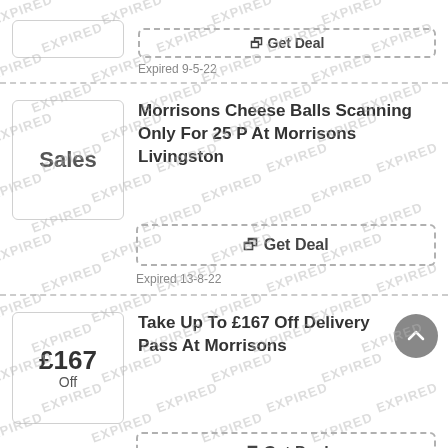[Figure (screenshot): Partial deal card at top showing a dashed 'Get Deal' button cutoff and expired date 9-5-22]
Expired 9-5-22
[Figure (illustration): Sales badge thumbnail box with text 'Sales']
Morrisons Cheese Balls Scanning Only For 25 P At Morrisons Livingston
Get Deal
Expired 13-8-22
[Figure (illustration): Deal badge thumbnail showing £167 Off]
Take Up To £167 Off Delivery Pass At Morrisons
Get Deal